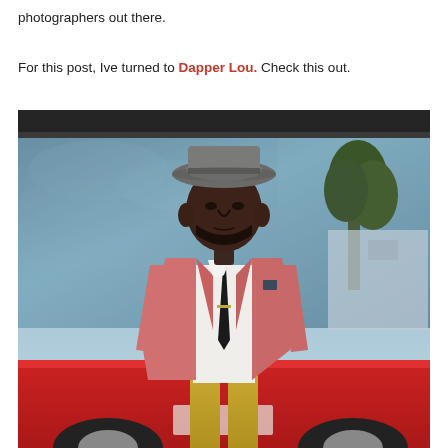photographers out there.
For this post, Ive turned to Dapper Lou. Check this out.
[Figure (photo): A well-dressed man wearing a gray fedora hat, pink blazer, black tie, white shirt, and yellow/mustard trousers, standing in front of a red London bus with glass windows visible behind him. Trees visible in the background on the right.]